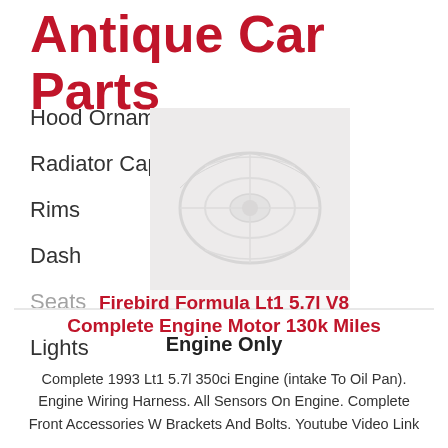Antique Car Parts
Hood Ornament
Radiator Cap
Rims
Dash
Seats
Lights
[Figure (photo): Antique car engine or part, faded watermark-style image]
Firebird Formula Lt1 5.7l V8 Complete Engine Motor 130k Miles Engine Only
Complete 1993 Lt1 5.7l 350ci Engine (intake To Oil Pan). Engine Wiring Harness. All Sensors On Engine. Complete Front Accessories W Brackets And Bolts. Youtube Video Link